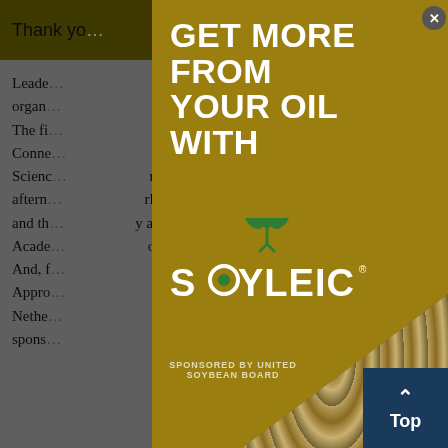Thank you ... ools you
Leader... organ... ums. The fi... Conne... Science... nday aftern... rld and th... y and Acade... oon. And, f... Appro... Nethe... spons...
[Figure (advertisement): Modal advertisement overlay with gold background. Headline reads 'GET MORE FROM YOUR OIL WITH' in large white bold uppercase text. Soyleic logo with green plant/sprout icon and stylized text. Soybean texture image in bottom right. Sponsored by United Soybean Board text. Close button (X) in top right corner.]
GET MORE FROM YOUR OIL WITH
SOYLEIC
SPONSORED BY UNITED SOYBEAN BOARD